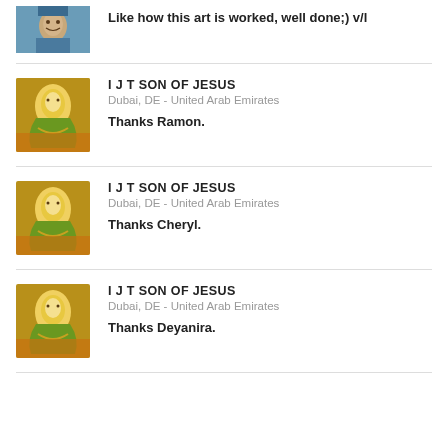Like how this art is worked, well done;) v/l
I J T SON OF JESUS
Dubai, DE - United Arab Emirates
Thanks Ramon.
I J T SON OF JESUS
Dubai, DE - United Arab Emirates
Thanks Cheryl.
I J T SON OF JESUS
Dubai, DE - United Arab Emirates
Thanks Deyanira.